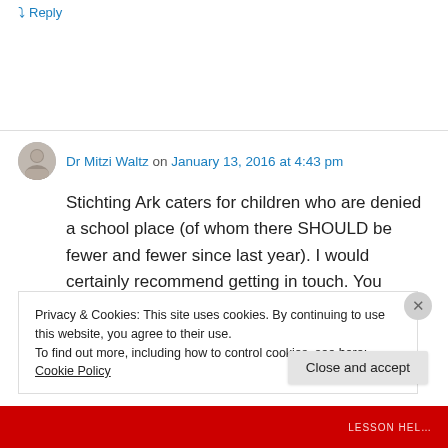↳ Reply
Dr Mitzi Waltz on January 13, 2016 at 4:43 pm
Stichting Ark caters for children who are denied a school place (of whom there SHOULD be fewer and fewer since last year). I would certainly recommend getting in touch. You
Privacy & Cookies: This site uses cookies. By continuing to use this website, you agree to their use.
To find out more, including how to control cookies, see here: Cookie Policy
Close and accept